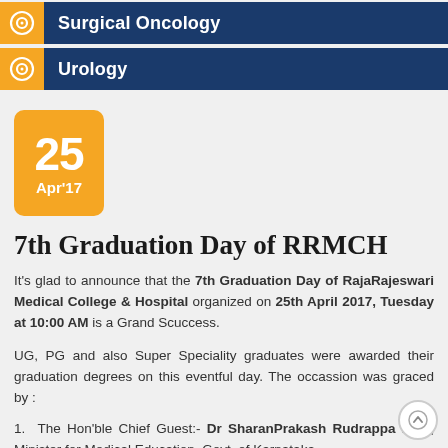Surgical Oncology
Urology
[Figure (other): Date badge showing 25 Apr'17]
7th Graduation Day of RRMCH
It's glad to announce that the 7th Graduation Day of RajaRajeswari Medical College & Hospital organized on 25th April 2017, Tuesday at 10:00 AM is a Grand Scuccess.
UG, PG and also Super Speciality graduates were awarded their graduation degrees on this eventful day. The occassion was graced by :
1.  The Hon'ble Chief Guest:- Dr SharanPrakash Rudrappa Patil, Minister for Medical Education, Govt. of Karnataka